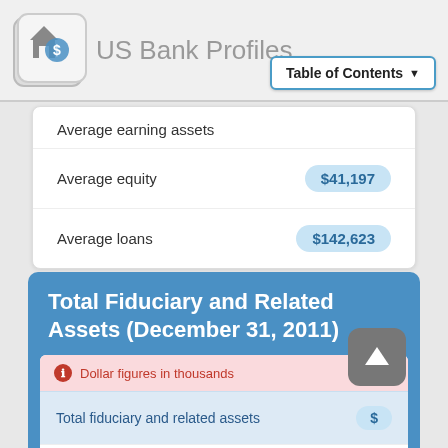US Bank Profiles
|  |  |
| --- | --- |
| Average earning assets |  |
| Average equity | $41,197 |
| Average loans | $142,623 |
Total Fiduciary and Related Assets (December 31, 2011)
Dollar figures in thousands
|  |  |
| --- | --- |
| Total fiduciary and related assets | $ |
| Number of Fiduciary Accounts and | 1 |